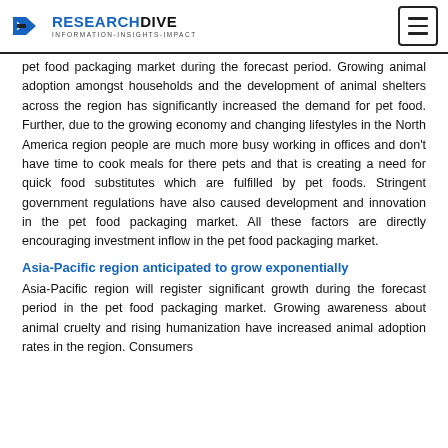RESEARCH DIVE INFORMATION-INSIGHTS-IMPACT
pet food packaging market during the forecast period. Growing animal adoption amongst households and the development of animal shelters across the region has significantly increased the demand for pet food. Further, due to the growing economy and changing lifestyles in the North America region people are much more busy working in offices and don't have time to cook meals for there pets and that is creating a need for quick food substitutes which are fulfilled by pet foods. Stringent government regulations have also caused development and innovation in the pet food packaging market. All these factors are directly encouraging investment inflow in the pet food packaging market.
Asia-Pacific region anticipated to grow exponentially
Asia-Pacific region will register significant growth during the forecast period in the pet food packaging market. Growing awareness about animal cruelty and rising humanization have increased animal adoption rates in the region. Consumers